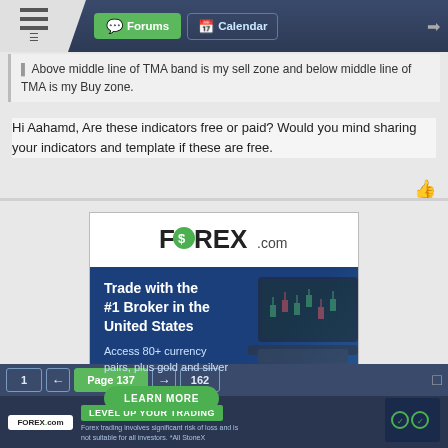Forums | Calendar
Above middle line of TMA band is my sell zone and below middle line of TMA is my Buy zone.
Hi Aahamd, Are these indicators free or paid? Would you mind sharing your indicators and template if these are free.
[Figure (infographic): FOREX.com advertisement: Trade with the #1 Broker in the United States. Access 80+ currency pairs, plus gold and silver. LEARN MORE button. Shows trading chart on laptop.]
1 ← Page 137 → 162
[Figure (infographic): FOREX.com bottom banner ad: LEVEL UP YOUR TRADING. Forex trading involves significant risk of loss and is not suitable for all investors. All StoneX.]